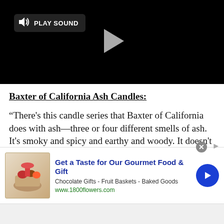[Figure (screenshot): Black video player area with a 'Play Sound' button (speaker icon) in the top left and a play arrow triangle in the center.]
Baxter of California Ash Candles:
“There’s this candle series that Baxter of California does with ash—three or four different smells of ash. It’s smoky and spicy and earthy and woody. It doesn’t smell like food or cinnamon. It smells really masculine and
[Figure (infographic): Advertisement banner: 'Get a Taste for Our Gourmet Food & Gift' from 1800flowers.com. Shows a gift basket image on the left, ad text in the center, and a blue circular arrow button on the right. Close button (x) in top corner.]